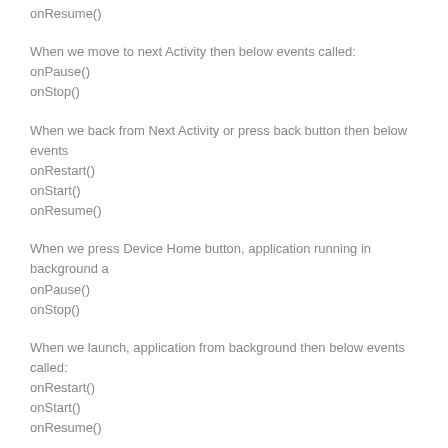onResume()
When we move to next Activity then below events called:
onPause()
onStop()
When we back from Next Activity or press back button then below events
onRestart()
onStart()
onResume()
When we press Device Home button, application running in background a
onPause()
onStop()
When we launch, application from background then below events called:
onRestart()
onStart()
onResume()
When we click the back button OR try to finish the activity then below eve
onPause()
onStop()
onDestroy()